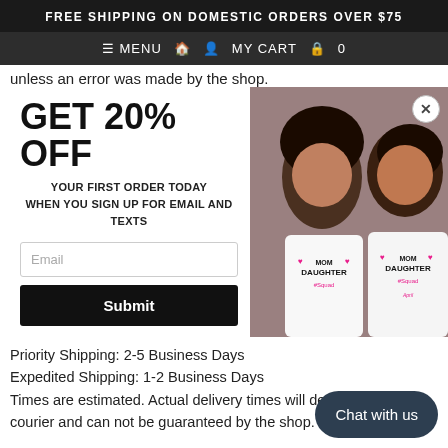FREE SHIPPING ON DOMESTIC ORDERS OVER $75
≡ MENU  🏠  👤  MY CART  🛒  0
unless an error was made by the shop.
[Figure (screenshot): Promotional popup modal with 'GET 20% OFF YOUR FIRST ORDER TODAY WHEN YOU SIGN UP FOR EMAIL AND TEXTS', an Email input field, a Submit button, and a photo of a woman and child wearing matching Mom Daughter Squad shirts.]
Priority Shipping: 2-5 Business Days
Expedited Shipping: 1-2 Business Days
Times are estimated. Actual delivery times will depend on the courier and can not be guaranteed by the shop.